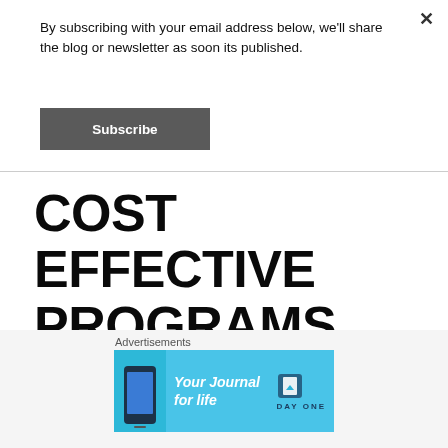By subscribing with your email address below, we'll share the blog or newsletter as soon its published.
Subscribe
COST EFFECTIVE PROGRAMS TO ENHANCE CYBER SECURITY IMMUNE
Advertisements
[Figure (illustration): Advertisement banner for 'Your Journal for life' by DayOne app, with phone graphic on cyan/blue background]